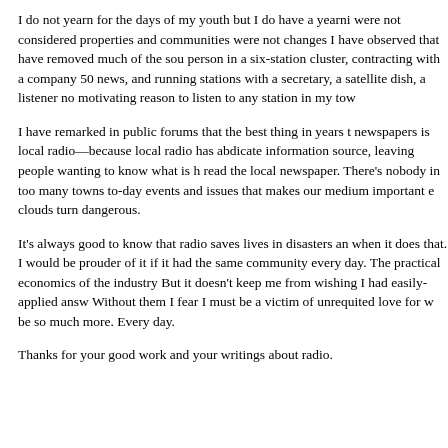I do not yearn for the days of my youth but I do have a yearni were not considered properties and communities were not changes I have observed that have removed much of the sou person in a six-station cluster, contracting with a company 50 news, and running stations with a secretary, a satellite dish, a listener no motivating reason to listen to any station in my tow
I have remarked in public forums that the best thing in years t newspapers is local radio—because local radio has abdicate information source, leaving people wanting to know what is h read the local newspaper. There's nobody in too many towns to-day events and issues that makes our medium important e clouds turn dangerous.
It's always good to know that radio saves lives in disasters an when it does that. I would be prouder of it if it had the same community every day. The practical economics of the industry But it doesn't keep me from wishing I had easily-applied answ Without them I fear I must be a victim of unrequited love for w be so much more. Every day.
Thanks for your good work and your writings about radio.